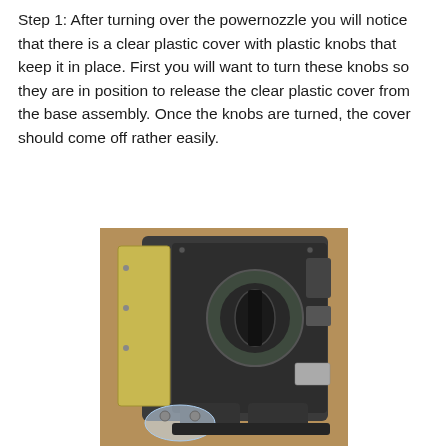Step 1: After turning over the powernozzle you will notice that there is a clear plastic cover with plastic knobs that keep it in place. First you will want to turn these knobs so they are in position to release the clear plastic cover from the base assembly. Once the knobs are turned, the cover should come off rather easily.
[Figure (photo): Underside of a vacuum powernozzle showing the base assembly with a circular brush roll housing, metal plate on the left side, plastic knobs, and a clear plastic cover partially visible at the bottom.]